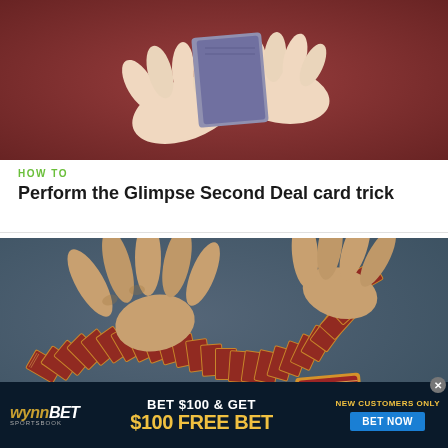[Figure (photo): Close-up of hands holding and shuffling playing cards against a dark red/maroon background]
HOW TO
Perform the Glimpse Second Deal card trick
[Figure (photo): Two hands spreading a full deck of playing cards in a wide arc on a blue-grey surface, with one card face-down separately placed to the right]
[Figure (photo): WynnBET Sportsbook advertisement: BET $100 & GET $100 FREE BET - NEW CUSTOMERS ONLY - BET NOW button]